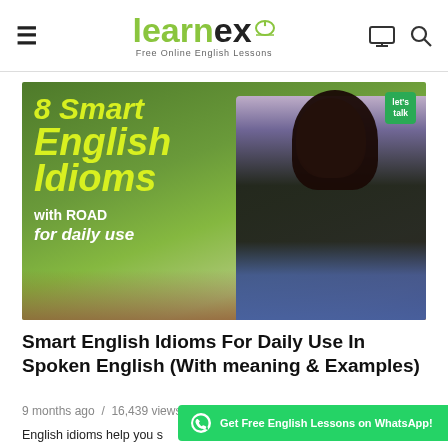learnex — Free Online English Lessons
[Figure (photo): Thumbnail image: '8 Smart English Idioms with ROAD for daily use' with a woman presenter and Let's Talk branding badge.]
Smart English Idioms For Daily Use In Spoken English (With meaning & Examples)
9 months ago / 16,439 views
English idioms help you s...
Get Free English Lessons on WhatsApp!